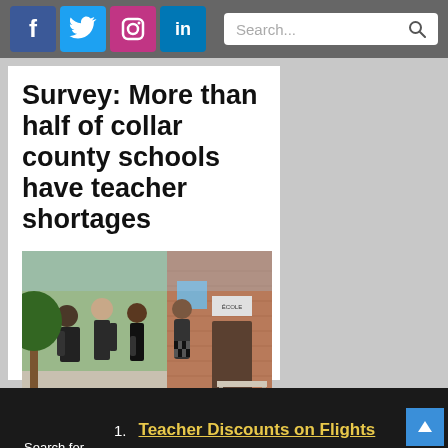Social media icons (Facebook, Twitter, Instagram, LinkedIn) and search bar
Survey: More than half of collar county schools have teacher shortages
[Figure (photo): People standing outside a school building, some in formal attire, appearing to be at a back-to-school or hiring event near a brick building entrance]
Editor's Note: Shaw Media
1. Teacher Discounts on Flights
2. Teacher Discounts 2022
Search for